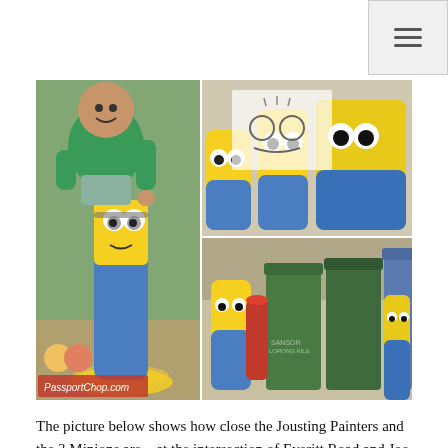Navigation menu icon (hamburger)
[Figure (photo): Photo collage of four images: top-left shows a man in a green shirt posing with a large bollard painted as a Minion character (yellow with googly eyes and blue overalls, surrounded by painted bananas at base), with a PassportChop.com watermark; top-right shows a close-up of Minion-painted bollards with yellow and blue colors; bottom-right shows multiple Minion-painted bollards next to green and blue wheelie bins on a street; bottom-left of the collage (merging into top-left) shows a sketchpad with Minion drawings.]
The picture below shows how close the Jousting Painters and the 3 Minions are – at the intersection of Everitt Road and Joo Chiat Terrace. As an added bonus, you will be able to find a terracotta warrior with